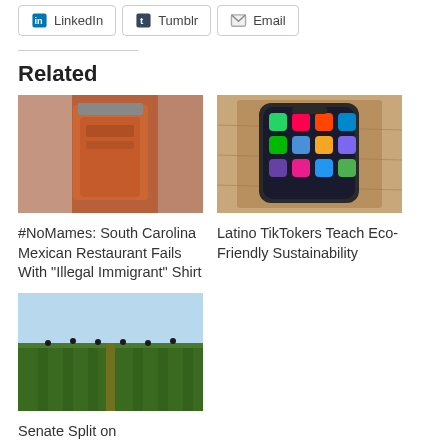LinkedIn
Tumblr
Email
Related
[Figure (photo): Person wearing an orange/red t-shirt, standing indoors]
#NoMames: South Carolina Mexican Restaurant Fails With "Illegal Immigrant" Shirt
[Figure (photo): Smartphone showing home screen with various apps including TikTok, resting on a wooden surface]
Latino TikTokers Teach Eco-Friendly Sustainability
[Figure (photo): Agricultural field with rows of crops and workers in the distance under a bright sky]
Senate Split on